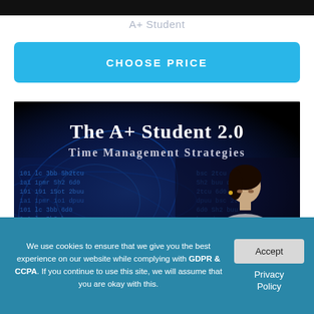[Figure (photo): Dark top image bar (cropped photo, mostly black)]
A+ Student
CHOOSE PRICE
[Figure (photo): The A+ Student 2.0 Time Management Strategies course banner. Black background with white serif text 'The A+ Student 2.0 Time Management Strategies' and a woman studying with blue digital globe/data background.]
We use cookies to ensure that we give you the best experience on our website while complying with GDPR & CCPA. If you continue to use this site, we will assume that you are okay with this.
Accept
Privacy Policy